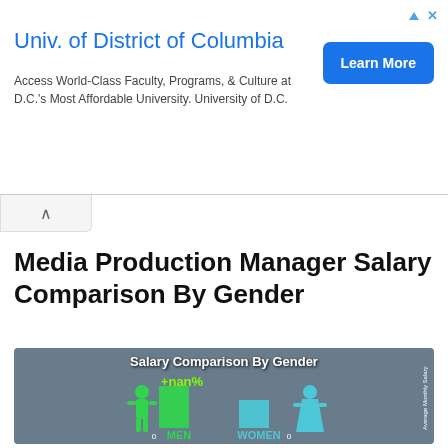[Figure (infographic): Advertisement banner for Univ. of District of Columbia with Learn More button, triangle and X icons]
Media Production Manager Salary Comparison By Gender
[Figure (infographic): Salary Comparison By Gender infographic showing green male figure with green bar labeled MEN (0) and cyan female figure with cyan bar labeled WOMEN (0), with +nan% label above bars. Side label reads Average Monthly Salary.]